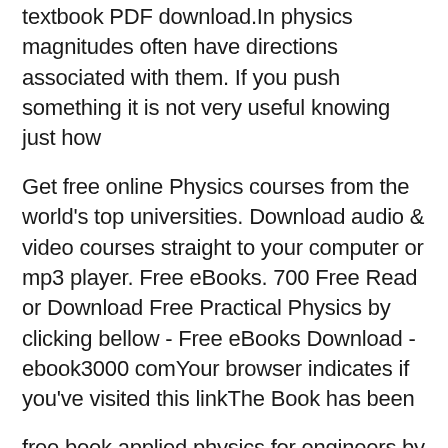textbook PDF download.In physics magnitudes often have directions associated with them. If you push something it is not very useful knowing just how
Get free online Physics courses from the world's top universities. Download audio & video courses straight to your computer or mp3 player. Free eBooks. 700 Free Read or Download Free Practical Physics by clicking bellow - Free eBooks Download - ebook3000 comYour browser indicates if you've visited this linkThe Book has been
free book applied physics for engineers by p k diwan remember, you can always read a sample of all other eBooks before making your purchase.